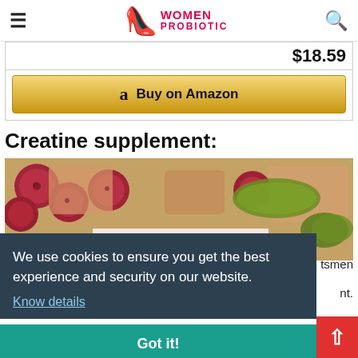≡  WOMEN PROBIOTIC  🔍
$18.59
a  Buy on Amazon
Creatine supplement:
[Figure (photo): Charcuterie/deli meat spread with salami slices, bread, and pickles/cucumbers]
We use cookies to ensure you get the best experience and security on our website.
Know details
Got it!